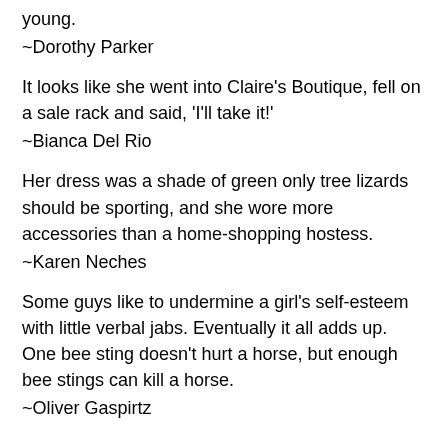young.
~Dorothy Parker
It looks like she went into Claire's Boutique, fell on a sale rack and said, 'I'll take it!'
~Bianca Del Rio
Her dress was a shade of green only tree lizards should be sporting, and she wore more accessories than a home-shopping hostess.
~Karen Neches
Some guys like to undermine a girl's self-esteem with little verbal jabs. Eventually it all adds up. One bee sting doesn't hurt a horse, but enough bee stings can kill a horse.
~Oliver Gaspirtz